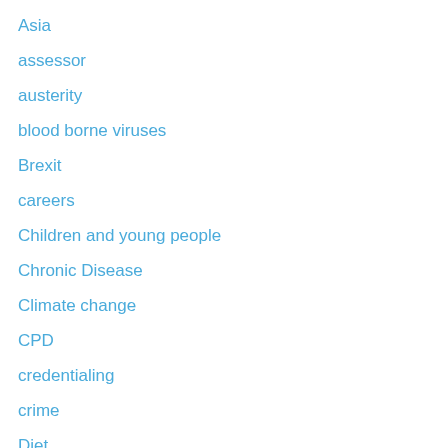Asia
assessor
austerity
blood borne viruses
Brexit
careers
Children and young people
Chronic Disease
Climate change
CPD
credentialing
crime
Diet
dietitian
disability
Disaster relief
do no harm
eating disorders
epidemiology
ethics